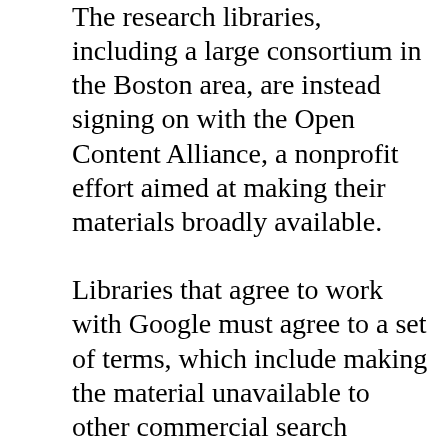The research libraries, including a large consortium in the Boston area, are instead signing on with the Open Content Alliance, a nonprofit effort aimed at making their materials broadly available.

Libraries that agree to work with Google must agree to a set of terms, which include making the material unavailable to other commercial search services. Microsoft places a similar restriction on the books it converts to electronic form. The Open Content Alliance, by contrast, is making the material available to any search service.